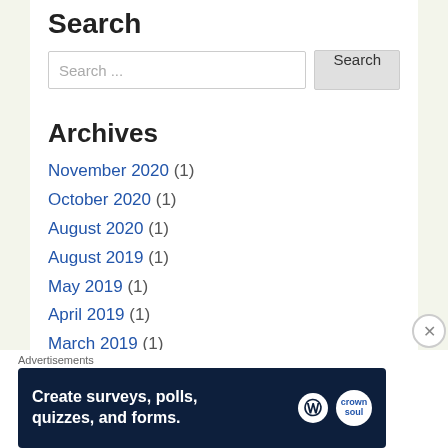Search
Search ...
Archives
November 2020 (1)
October 2020 (1)
August 2020 (1)
August 2019 (1)
May 2019 (1)
April 2019 (1)
March 2019 (1)
Advertisements
[Figure (infographic): Advertisement banner: Create surveys, polls, quizzes, and forms. WordPress and Crown logos on dark navy background.]